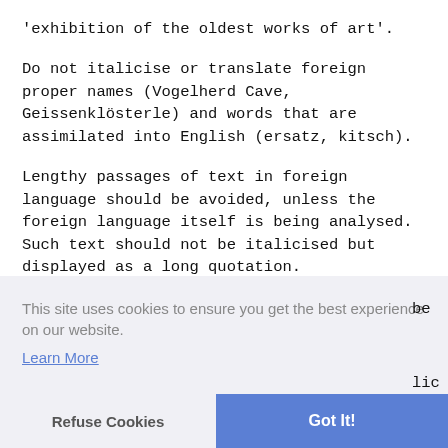'exhibition of the oldest works of art'.
Do not italicise or translate foreign proper names (Vogelherd Cave, Geissenklösterle) and words that are assimilated into English (ersatz, kitsch).
Lengthy passages of text in foreign language should be avoided, unless the foreign language itself is being analysed. Such text should not be italicised but displayed as a long quotation.
This site uses cookies to ensure you get the best experience on our website.
Learn More
Refuse Cookies   Got It!